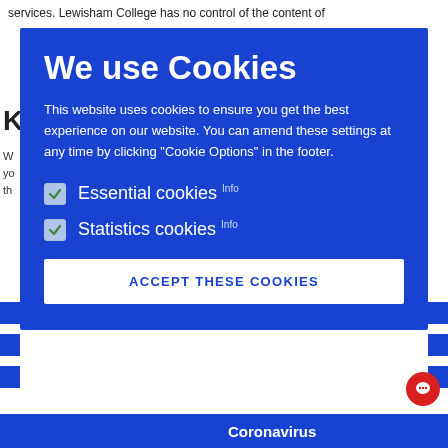services. Lewisham College has no control of the content of
We use Cookies
This website uses cookies to ensure you get the best experience on our website. You can amend these settings at any time by clicking "Cookie Options" in the footer.
Essential cookies Info
Statistics cookies Info
ACCEPT THESE COOKIES
Coronavirus